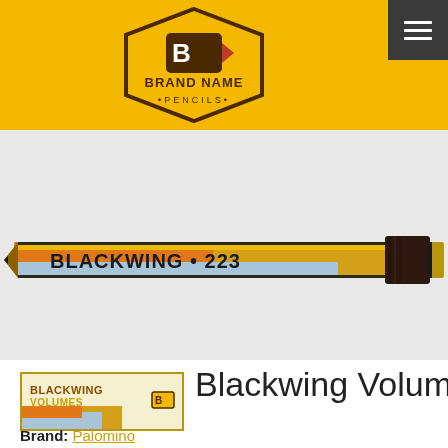BRAND NAME PENCILS
[Figure (photo): A Blackwing 223 pencil with gold, orange, and light blue striped body and dark brown ferrule with gold eraser, displayed horizontally against a light gray background.]
[Figure (photo): Small thumbnail image of the Blackwing Volumes pencil box/packaging showing the label with 'BLACKWING VOLUMES' text in gold and brown colors.]
Blackwing Volumes 223
Brand: Palomino